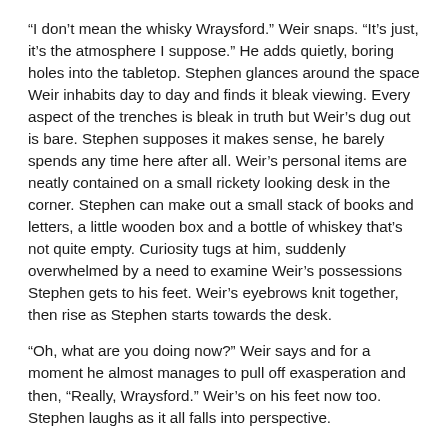“I don’t mean the whisky Wraysford.” Weir snaps. “It’s just, it’s the atmosphere I suppose.” He adds quietly, boring holes into the tabletop. Stephen glances around the space Weir inhabits day to day and finds it bleak viewing. Every aspect of the trenches is bleak in truth but Weir’s dug out is bare. Stephen supposes it makes sense, he barely spends any time here after all. Weir’s personal items are neatly contained on a small rickety looking desk in the corner. Stephen can make out a small stack of books and letters, a little wooden box and a bottle of whiskey that’s not quite empty. Curiosity tugs at him, suddenly overwhelmed by a need to examine Weir’s possessions Stephen gets to his feet. Weir’s eyebrows knit together, then rise as Stephen starts towards the desk.
“Oh, what are you doing now?” Weir says and for a moment he almost manages to pull off exasperation and then, “Really, Wraysford.” Weir’s on his feet now too. Stephen laughs as it all falls into perspective.
“Listen, Weir you don’t have to feel-” Stephen stumbles then, the task of talking and walking with alcohol in his system proving too much as he knocks into the desk. A few letters and the wooden box topple to the floor. The box’s lid creaks open during its fall and photographs flutter to the ground between them. Weir makes a mad dash for them,